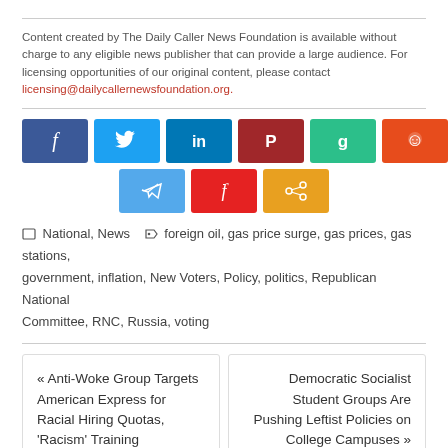Content created by The Daily Caller News Foundation is available without charge to any eligible news publisher that can provide a large audience. For licensing opportunities of our original content, please contact licensing@dailycallernewsfoundation.org.
[Figure (other): Social media share buttons: Facebook, Twitter, LinkedIn, Parler, Gettr, Reddit (top row); Telegram, Flipboard, Share (bottom row)]
National, News  foreign oil, gas price surge, gas prices, gas stations, government, inflation, New Voters, Policy, politics, Republican National Committee, RNC, Russia, voting
« Anti-Woke Group Targets American Express for Racial Hiring Quotas, 'Racism' Training
Democratic Socialist Student Groups Are Pushing Leftist Policies on College Campuses »